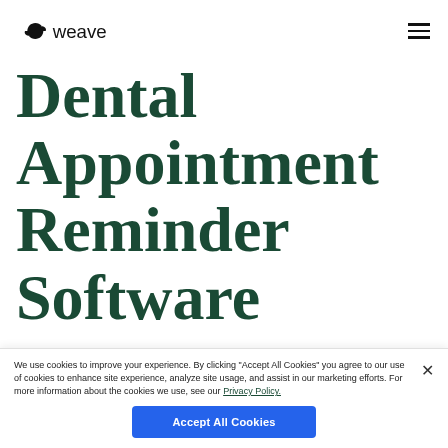weave
Dental Appointment Reminder Software
Automatically send a customized text message or email appointment reminder at any time and date
We use cookies to improve your experience. By clicking "Accept All Cookies" you agree to our use of cookies to enhance site experience, analyze site usage, and assist in our marketing efforts. For more information about the cookies we use, see our Privacy Policy.
Accept All Cookies